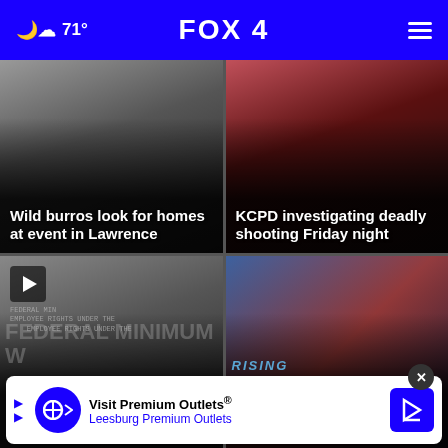71° FOX 4
[Figure (photo): News card 1: Wild burros look for homes at event in Lawrence - dark misty background photo]
Wild burros look for homes at event in Lawrence
[Figure (photo): News card 2: KCPD investigating deadly shooting Friday night - emergency lights background photo]
KCPD investigating deadly shooting Friday night
[Figure (photo): News card 3: Federal Minimum Wage document close-up photo with play button overlay]
Latest Missouri job report has KC concerned
[Figure (photo): News card 4: KC Current soccer player in red jersey photo]
KC Current draw with historic night
[Figure (other): Advertisement banner: Visit Premium Outlets® - Leesburg Premium Outlets]